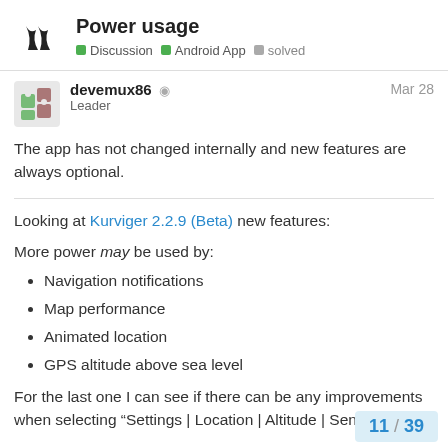Power usage — Discussion · Android App · solved
devemux86 Leader Mar 28
The app has not changed internally and new features are always optional.
Looking at Kurviger 2.2.9 (Beta) new features:
More power may be used by:
Navigation notifications
Map performance
Animated location
GPS altitude above sea level
For the last one I can see if there can be any improvements when selecting “Settings | Location | Altitude | Sensor”.
11 / 39